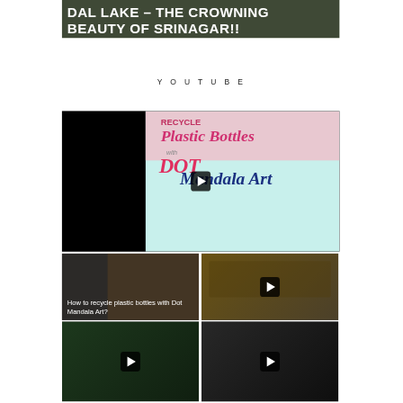[Figure (photo): Top banner with dark overlay showing text 'DAL LAKE – THE CROWNING BEAUTY OF SRINAGAR!!' in white bold uppercase letters on a scenic/travel background]
YOUTUBE
[Figure (screenshot): Large YouTube video thumbnail showing recycled plastic bottles with dot mandala art. Text on thumbnail: 'RECYCLE Plastic Bottles with DOT Mandala Art'. Play button in center.]
[Figure (screenshot): Small YouTube video thumbnail (bottom left of large video) with text overlay: 'How to recycle plastic bottles with Dot Mandala Art?' on dark background]
[Figure (screenshot): Small YouTube video thumbnail (right) showing yellow flowers/plants with play button]
[Figure (screenshot): Small YouTube video thumbnail (bottom left row 2) showing green plants/herbs with play button]
[Figure (screenshot): Small YouTube video thumbnail (bottom right row 2) showing dark content with play button]